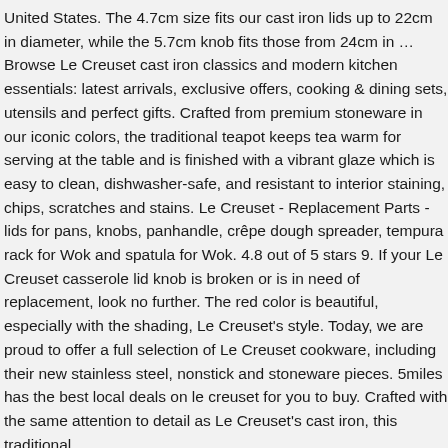United States. The 4.7cm size fits our cast iron lids up to 22cm in diameter, while the 5.7cm knob fits those from 24cm in … Browse Le Creuset cast iron classics and modern kitchen essentials: latest arrivals, exclusive offers, cooking & dining sets, utensils and perfect gifts. Crafted from premium stoneware in our iconic colors, the traditional teapot keeps tea warm for serving at the table and is finished with a vibrant glaze which is easy to clean, dishwasher-safe, and resistant to interior staining, chips, scratches and stains. Le Creuset - Replacement Parts - lids for pans, knobs, panhandle, crêpe dough spreader, tempura rack for Wok and spatula for Wok. 4.8 out of 5 stars 9. If your Le Creuset casserole lid knob is broken or is in need of replacement, look no further. The red color is beautiful, especially with the shading, Le Creuset's style. Today, we are proud to offer a full selection of Le Creuset cookware, including their new stainless steel, nonstick and stoneware pieces. 5miles has the best local deals on le creuset for you to buy. Crafted with the same attention to detail as Le Creuset's cast iron, this traditional